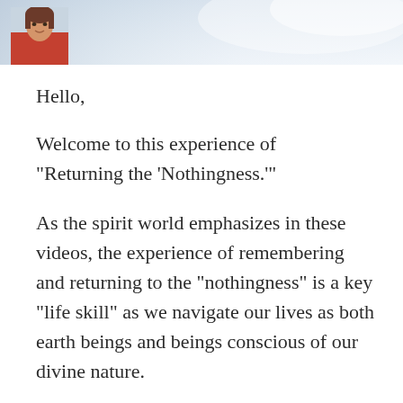[Figure (photo): Header banner with soft sky/light background gradient, with a small portrait photo of a woman with brown hair wearing a red top, positioned in the top-left corner]
Hello,
Welcome to this experience of "Returning the 'Nothingness.'"
As the spirit world emphasizes in these videos, the experience of remembering and returning to the "nothingness" is a key "life skill" as we navigate our lives as both earth beings and beings conscious of our divine nature.